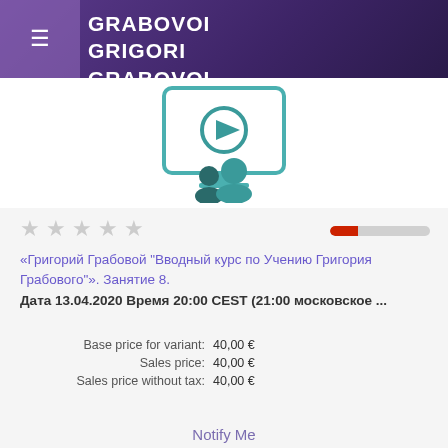GRABOVOI GRIGORI GRABOVOI
[Figure (illustration): Video course icon: a monitor with a play button and two user silhouettes in teal/dark teal colors on a white background]
★ ★ ★ ★ ★
«Григорий Грабовой "Вводный курс по Учению Григория Грабового". Занятие 8. Дата 13.04.2020 Время 20:00 CEST (21:00 московское ...
| Label | Price |
| --- | --- |
| Base price for variant: | 40,00 € |
| Sales price: | 40,00 € |
| Sales price without tax: | 40,00 € |
Notify Me
Product details